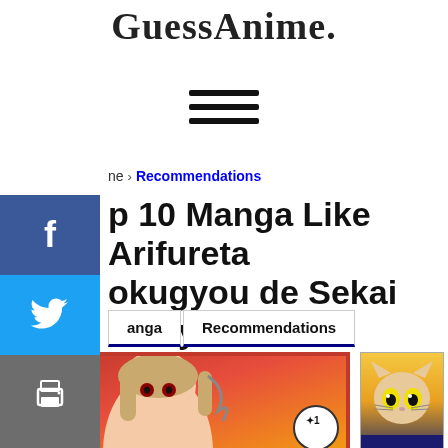GuessAnime.
[Figure (other): Hamburger menu icon with three horizontal lines]
[Figure (other): Social media sidebar with Facebook, Twitter, Print, Email, and +457 share buttons]
Home › Recommendations
Top 10 Manga Like Arifureta Shokugyou de Sekai Saikyou
Manga   Recommendations
[Figure (illustration): Manga cover image for Arifureta with anime female character and volume 1 badge, red border]
[Figure (illustration): Small thumbnail image of an anime cat character]